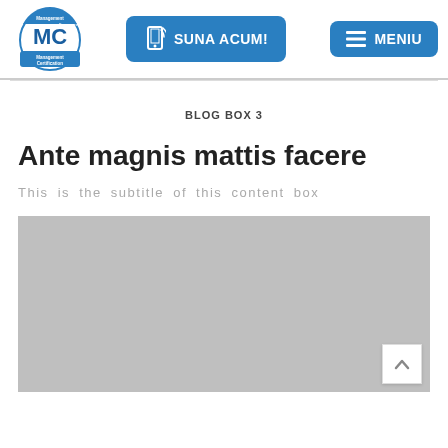[Figure (logo): MC Management Certification circular logo with blue background]
[Figure (other): Blue button with phone icon and text SUNA ACUM!]
[Figure (other): Blue button with hamburger menu icon and text MENIU]
BLOG BOX 3
Ante magnis mattis facere
This is the subtitle of this content box
[Figure (photo): Gray placeholder image block]